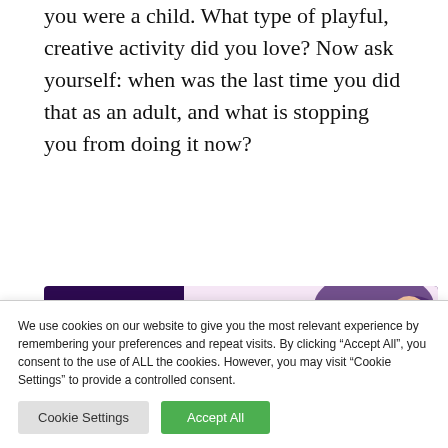you were a child. What type of playful, creative activity did you love? Now ask yourself: when was the last time you did that as an adult, and what is stopping you from doing it now?
[Figure (infographic): Advertisement banner with dark purple and light pink background. Left side has a magenta pill-shaped button labeled 'Watch Video' with dotted decoration. Center text reads 'ODD EXOTIC LOOPHOLE DISSOLVES FAT OVERNIGHT!' with the word OVERNIGHT in magenta. Right side shows a stylized illustration of a person's arm/torso.]
When I did this exercise, I remembered picking up rose
We use cookies on our website to give you the most relevant experience by remembering your preferences and repeat visits. By clicking "Accept All", you consent to the use of ALL the cookies. However, you may visit "Cookie Settings" to provide a controlled consent.